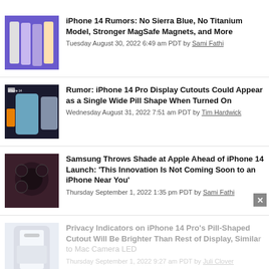[Figure (photo): iPhone 14 Pro models in multiple colors on purple background]
iPhone 14 Rumors: No Sierra Blue, No Titanium Model, Stronger MagSafe Magnets, and More
Tuesday August 30, 2022 6:49 am PDT by Sami Fathi
[Figure (photo): iPhone 14 Pro render on dark background with orange accents]
Rumor: iPhone 14 Pro Display Cutouts Could Appear as a Single Wide Pill Shape When Turned On
Wednesday August 31, 2022 7:51 am PDT by Tim Hardwick
[Figure (photo): Samsung phone rear camera close-up on dark purple background]
Samsung Throws Shade at Apple Ahead of iPhone 14 Launch: 'This Innovation Is Not Coming Soon to an iPhone Near You'
Thursday September 1, 2022 1:35 pm PDT by Sami Fathi
[Figure (photo): iPhone 14 Pro pill-shaped cutout display screenshot]
Privacy Indicators on iPhone 14 Pro's Pill-Shaped Cutout Will Be Brighter Than Rest of Display, Similar to Mac Camera LED
Thursday September 1, 2022 9:27 am PDT by Juli Clover